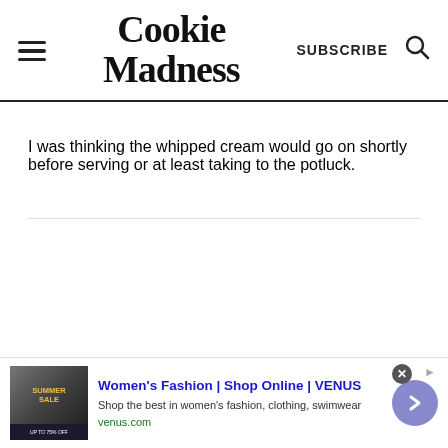Cookie Madness | SUBSCRIBE
I was thinking the whipped cream would go on shortly before serving or at least taking to the potluck.
[Figure (screenshot): Advertisement banner for Women's Fashion | Shop Online | VENUS with ad image showing a summer sale, headline, subtext, and a navigation arrow button.]